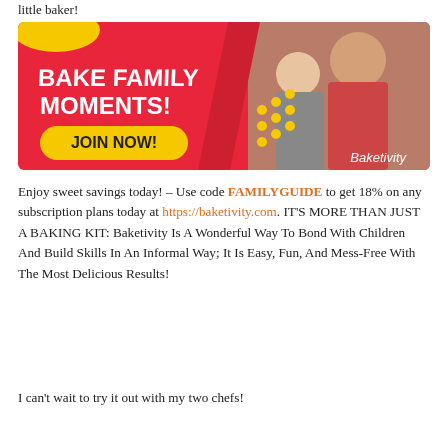little baker!
[Figure (illustration): Baketivity promotional banner ad with red background, yellow blob accent, text 'BAKE FAMILY MOMENTS!' in white bold font, a yellow pill-shaped 'JOIN NOW!' button, yellow polka dots, and a photo of an adult and young child baking together on the right side. Baketivity logo in white script at bottom right.]
Enjoy sweet savings today! – Use code FAMILYGUIDE to get 18% on any subscription plans today at https://baketivity.com. IT'S MORE THAN JUST A BAKING KIT: Baketivity Is A Wonderful Way To Bond With Children And Build Skills In An Informal Way; It Is Easy, Fun, And Mess-Free With The Most Delicious Results!
I can't wait to try it out with my two chefs!